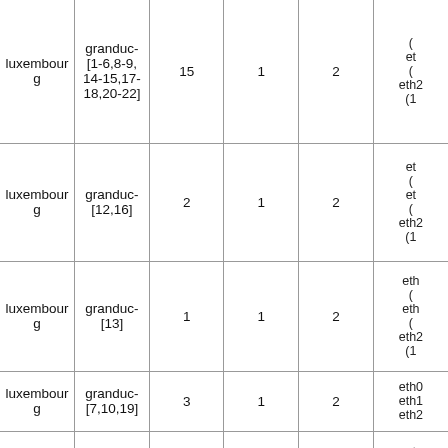| luxembourg | granduc-[1-6,8-9,14-15,17-18,20-22] | 15 | 1 | 2 | (eth...) eth2 (1... |
| luxembourg | granduc-[12,16] | 2 | 1 | 2 | eth (...) eth (...) eth2 (1... |
| luxembourg | granduc-[13] | 1 | 1 | 2 | eth (...) eth (...) eth2 (1... |
| luxembourg | granduc-[7,10,19] | 3 | 1 | 2 | eth0 eth1 eth2... |
| luxembourg | petitprince | 16 | 2 |  | eth (...) eth... |